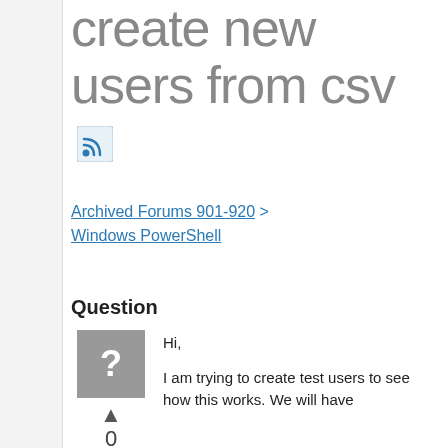create new users from csv
Archived Forums 901-920 > Windows PowerShell
Question
[Figure (other): Gray question mark icon box with up arrow vote button, vote count 0, and Sign in to vote link]
Hi,
I am trying to create test users to see how this works. We will have